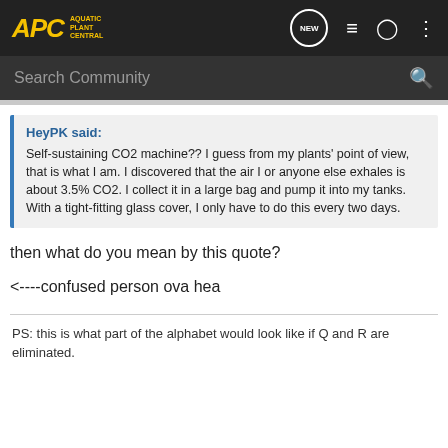APC Aquatic Plant Central
Search Community
HeyPK said: Self-sustaining CO2 machine?? I guess from my plants' point of view, that is what I am. I discovered that the air I or anyone else exhales is about 3.5% CO2. I collect it in a large bag and pump it into my tanks. With a tight-fitting glass cover, I only have to do this every two days.
then what do you mean by this quote?
<----confused person ova hea
PS: this is what part of the alphabet would look like if Q and R are eliminated.